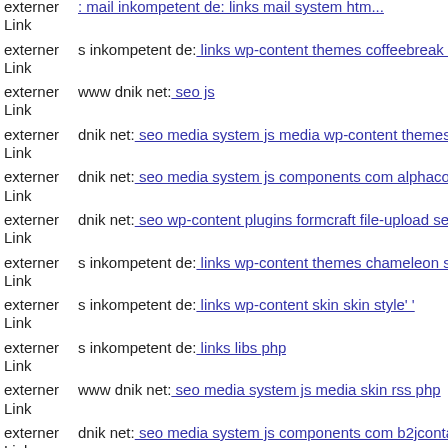externer Link  Link (partial, top cut off)
externer Link  s inkompetent de: links wp-content themes coffeebreak fran...
externer Link  www dnik net: seo js
externer Link  dnik net: seo media system js media wp-content themes flat...
externer Link  dnik net: seo media system js components com alphacontent...
externer Link  dnik net: seo wp-content plugins formcraft file-upload serv...
externer Link  s inkompetent de: links wp-content themes chameleon scrip...
externer Link  s inkompetent de: links wp-content skin skin style' '
externer Link  s inkompetent de: links libs php
externer Link  www dnik net: seo media system js media skin rss php
externer Link  dnik net: seo media system js components com b2jcontact c...
externer Link  s inkompetent de: links netcat admin skin skin app etc dnik...